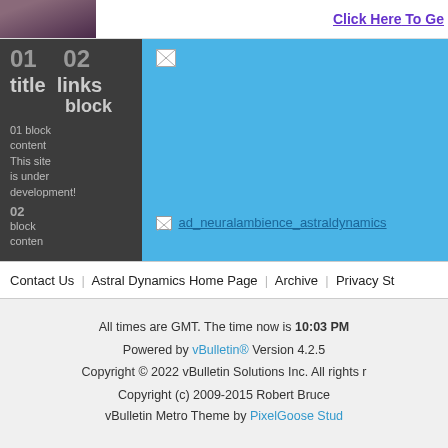Click Here To Ge
[Figure (photo): Partial photo of a person in dark clothing, top-left corner]
01
title
01 block content
This site is under development!
02
links block
02 block content
[Figure (other): Broken image placeholder in blue panel]
ad_neuralambience_astraldynamics
Contact Us | Astral Dynamics Home Page | Archive | Privacy St
All times are GMT. The time now is 10:03 PM
Powered by vBulletin® Version 4.2.5
Copyright © 2022 vBulletin Solutions Inc. All rights r
Copyright (c) 2009-2015 Robert Bruce
vBulletin Metro Theme by PixelGoose Stud